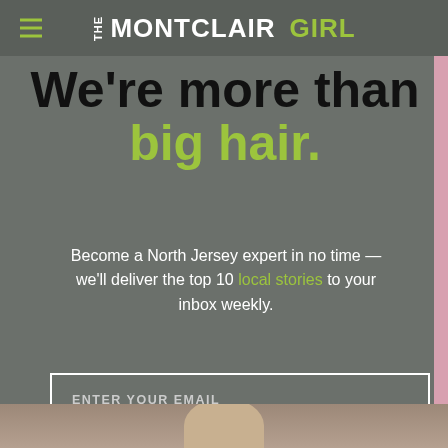THE MONTCLAIR GIRL
We're more than big hair.
Become a North Jersey expert in no time — we'll deliver the top 10 local stories to your inbox weekly.
ENTER YOUR EMAIL
JOIN THE FUN
[Figure (photo): Partial view of a smiling woman at the bottom of the page]